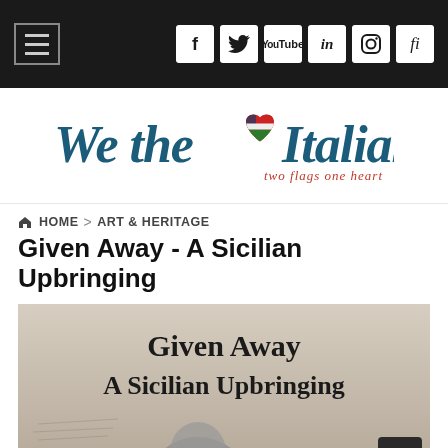Navigation bar with hamburger menu and social icons: Facebook, Twitter, YouTube, LinkedIn, Instagram, Flipboard
[Figure (logo): We the Italians logo — stylized script text 'We the Italians' with a heart icon combining American and Italian flag colors, tagline 'two flags one heart']
HOME > ART & HERITAGE
Given Away - A Sicilian Upbringing
[Figure (photo): Black and white book cover image showing the text 'Given Away A Sicilian Upbringing' with a partial view of a person's head below]